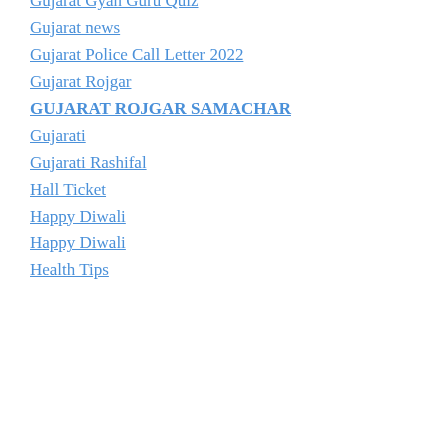Gujarat Gyan Guru Quiz
Gujarat news
Gujarat Police Call Letter 2022
Gujarat Rojgar
GUJARAT ROJGAR SAMACHAR
Gujarati
Gujarati Rashifal
Hall Ticket
Happy Diwali
Happy Diwali
Health Tips